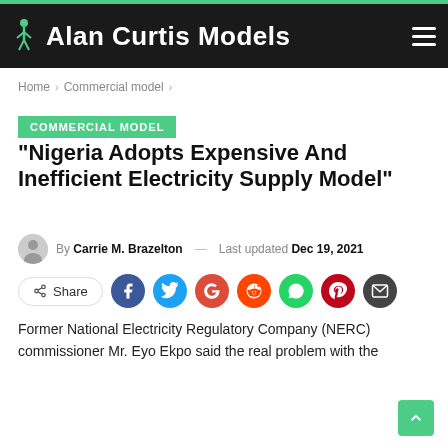Alan Curtis Models
Home > Commercial model >
COMMERCIAL MODEL
“Nigeria Adopts Expensive And Inefficient Electricity Supply Model”
By Carrie M. Brazelton — Last updated Dec 19, 2021
[Figure (other): Social share buttons: Share, Facebook, Twitter, Google, Reddit, WhatsApp, Pinterest, Email]
Former National Electricity Regulatory Company (NERC) commissioner Mr. Eyo Ekpo said the real problem with the